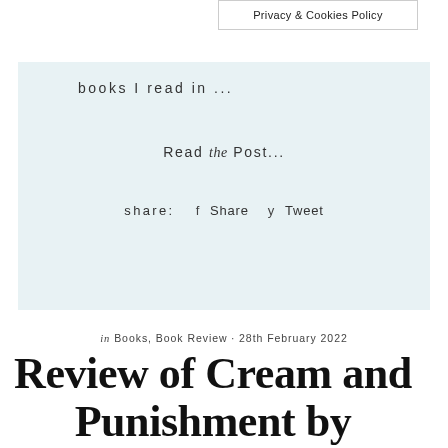Privacy & Cookies Policy
books I read in ...
Read the Post...
share:  Share  Tweet
in Books, Book Review · 28th February 2022
Review of Cream and Punishment by Susannan Ni...